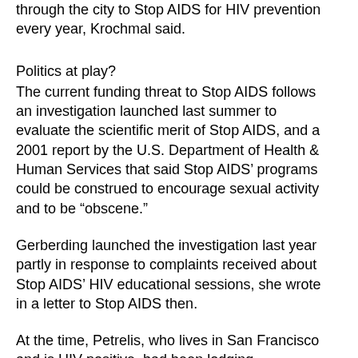through the city to Stop AIDS for HIV prevention every year, Krochmal said.
Politics at play?
The current funding threat to Stop AIDS follows an investigation launched last summer to evaluate the scientific merit of Stop AIDS, and a 2001 report by the U.S. Department of Health & Human Services that said Stop AIDS’ programs could be construed to encourage sexual activity and to be “obscene.”
Gerberding launched the investigation last year partly in response to complaints received about Stop AIDS’ HIV educational sessions, she wrote in a letter to Stop AIDS then.
At the time, Petrelis, who lives in San Francisco and is HIV-positive, had been lodging complaints about Stop AIDS for years with HHS, CDC, and the U.S. House of Representatives’ Subcommittee On Criminal Justice, Drug Policy & Human Resources. Souder chairs the subcommittee, according to Foster, his spokeswoman.